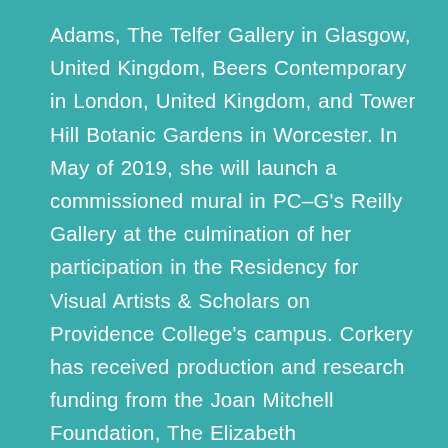Adams, The Telfer Gallery in Glasgow, United Kingdom, Beers Contemporary in London, United Kingdom, and Tower Hill Botanic Gardens in Worcester. In May of 2019, she will launch a commissioned mural in PC–G's Reilly Gallery at the culmination of her participation in the Residency for Visual Artists & Scholars on Providence College's campus. Corkery has received production and research funding from the Joan Mitchell Foundation, The Elizabeth Greenshields Foundation, Clark Hulings Fund, Brooklyn Arts Council, Somerville Arts Council and Australian philanthropic organizations The Dame Joan Sutherland Fund, The Ian Potter Cultural Trust and The Australia Council. Recent residencies have included in the London Summer Intensive, run by The Slade and The Camden Arts Center, London. She holds a Master of